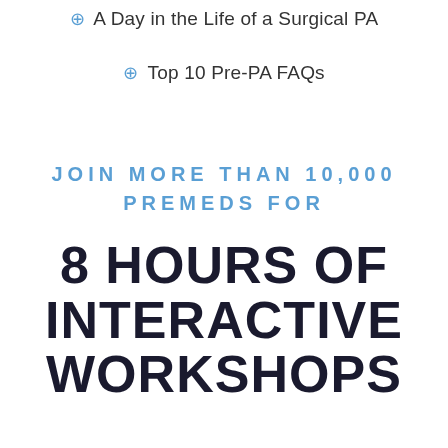⊕ A Day in the Life of a Surgical PA
⊕ Top 10 Pre-PA FAQs
JOIN MORE THAN 10,000 PREMEDS FOR
8 HOURS OF INTERACTIVE WORKSHOPS